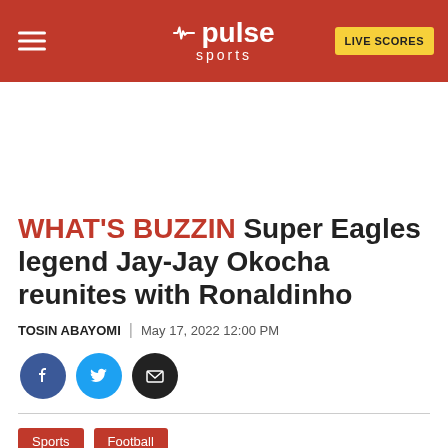Pulse Sports | LIVE SCORES
WHAT'S BUZZIN Super Eagles legend Jay-Jay Okocha reunites with Ronaldinho
TOSIN ABAYOMI | May 17, 2022 12:00 PM
[Figure (infographic): Social sharing icons: Facebook, Twitter, Email]
Sports  Football